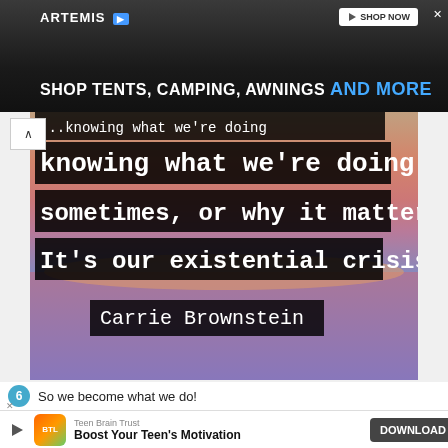[Figure (screenshot): Advertisement banner for Artemis outdoor products: Shop Tents, Camping, Awnings AND MORE]
[Figure (photo): Quote image over sunset ocean background: '...knowing what we're doing sometimes, or why it matters. It's our existential crisis.' — Carrie Brownstein. White text on black semi-transparent backgrounds.]
6  So we become what we do!
[Figure (screenshot): Bottom ad banner: Teen Brain Trust - Boost Your Teen's Motivation - DOWNLOAD button]